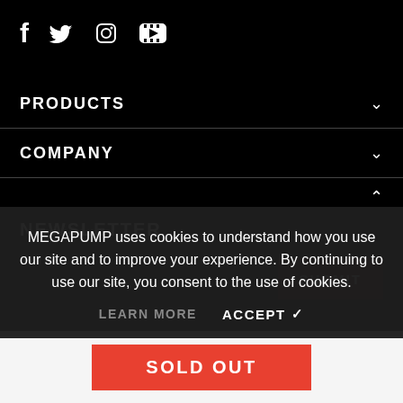[Figure (infographic): Social media icons: Facebook (f), Twitter (bird), Instagram (camera), YouTube (play button in rectangle)]
PRODUCTS
COMPANY
NEWSLETTER
MEGAPUMP uses cookies to understand how you use our site and to improve your experience. By continuing to use our site, you consent to the use of cookies.
LEARN MORE   ACCEPT ✔
SOLD OUT